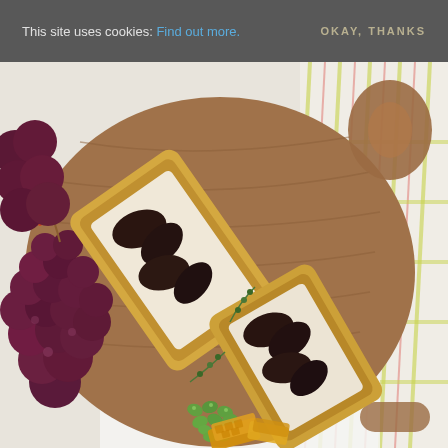This site uses cookies: Find out more.   OKAY, THANKS
[Figure (photo): Overhead view of mushroom puff pastry tarts on a wooden serving board, accompanied by red grapes, edamame beans, and honeycomb pieces, with a colorful plaid cloth in the background.]